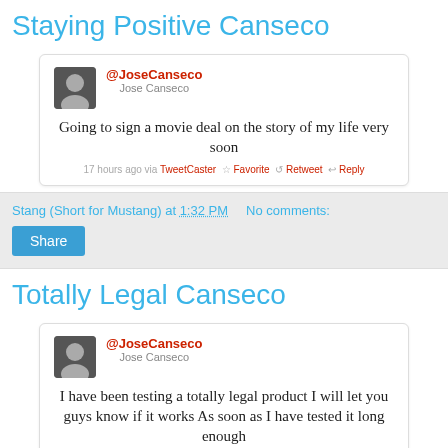Staying Positive Canseco
[Figure (screenshot): Tweet from @JoseCanseco: Going to sign a movie deal on the story of my life very soon. 17 hours ago via TweetCaster. Favorite. Retweet. Reply.]
Stang (Short for Mustang) at 1:32 PM    No comments:
Share
Totally Legal Canseco
[Figure (screenshot): Tweet from @JoseCanseco: I have been testing a totally legal product I will let you guys know if it works As soon as I have tested it long enough. 11 hours ago via TweetCaster. Favorite. Retweet. Reply.]